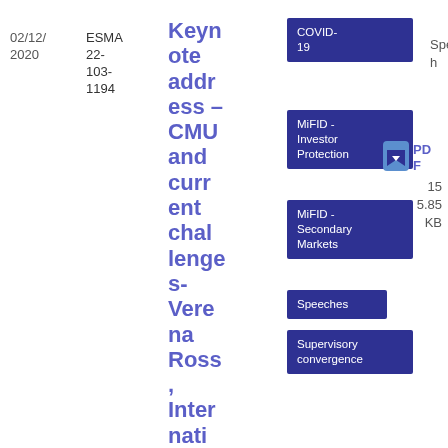02/12/2020
ESMA 22-103-1194
Keynote address – CMU and current challenges- Verena Ross, International Investors Conference
COVID-19
MiFID - Investor Protection
MiFID - Secondary Markets
Speeches
Supervisory convergence
Speech
[Figure (other): PDF download icon (blue bookmark/chevron icon)]
PDF
15
5.85 KB